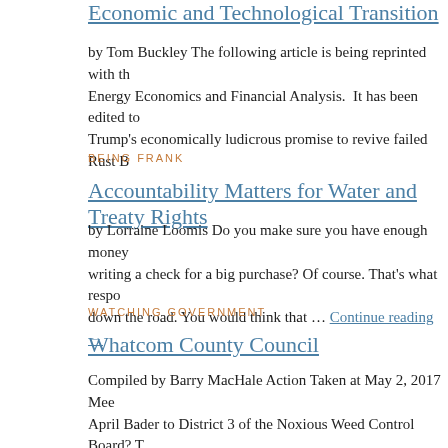Economic and Technological Transition
by Tom Buckley The following article is being reprinted with the Energy Economics and Financial Analysis. It has been edited to Trump's economically ludicrous promise to revive failed Rust B…
BEING FRANK
Accountability Matters for Water and Treaty Rights
by Lorraine Loomis Do you make sure you have enough money writing a check for a big purchase? Of course. That's what respo down the road. You would think that … Continue reading →
WATCHING GOVERNMENT
Whatcom County Council
Compiled by Barry MacHale Action Taken at May 2, 2017 Mee April Bader to District 3 of the Noxious Weed Control Board? T regarding the impacts and management of noxious weeds … Co
WATCHING GOVERNMENT
Bellingham City Council
COMPILED BY BORIS SCHLEINKOFER